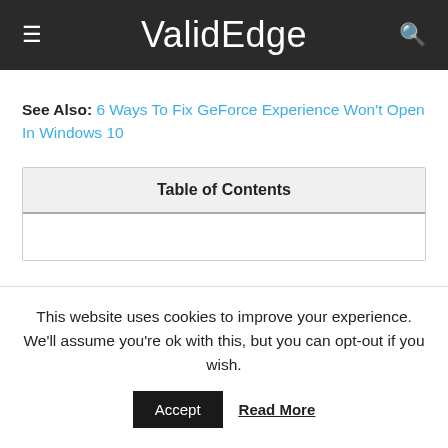ValidEdge
See Also: 6 Ways To Fix GeForce Experience Won't Open In Windows 10
Table of Contents
This website uses cookies to improve your experience. We'll assume you're ok with this, but you can opt-out if you wish.
Accept   Read More